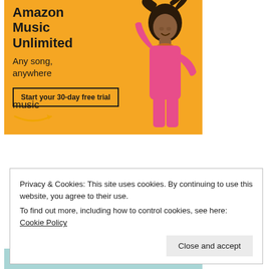[Figure (illustration): Amazon Music Unlimited advertisement banner with yellow/orange background showing a woman in a pink jumpsuit with text 'Amazon Music Unlimited', 'Any song, anywhere', a 'Start your 30-day free trial' button, and the Amazon music logo with smile arrow.]
Privacy & Cookies: This site uses cookies. By continuing to use this website, you agree to their use.
To find out more, including how to control cookies, see here: Cookie Policy
Close and accept
[Figure (illustration): Bottom banner showing '3 months FREE' text on a light blue/teal background.]